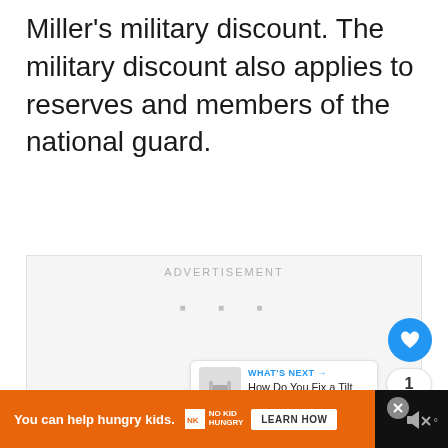Miller’s military discount. The military discount also applies to reserves and members of the national guard.
[Figure (other): Advertisement placeholder box with 'ADVERTISEMENT' label and three gray dots]
[Figure (other): Social engagement buttons: blue heart icon, count of 1, and share icon]
[Figure (other): What's Next panel showing 'How Do You Fix a Tilt Loc...' with chair image]
[Figure (other): Bottom advertisement bar: orange background with 'You can help hungry kids.' No Kid Hungry logo and LEARN HOW button]